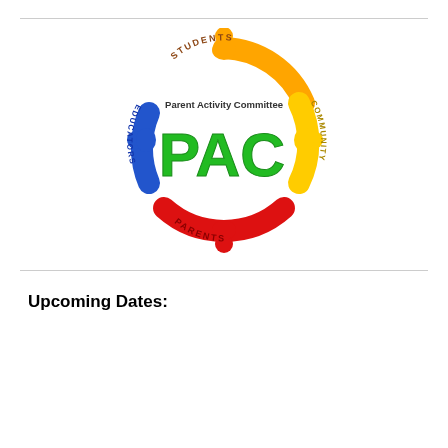[Figure (logo): PAC - Parent Activity Committee circular logo with colorful puzzle-piece figures (orange=Students at top, blue=Educators on left, red=Parents at bottom, yellow=Community on right) surrounding green PAC letters in the center]
Upcoming Dates: